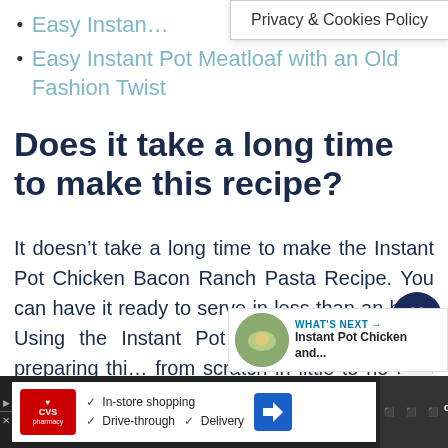Easy Instant Pot … Recipe
Easy Instant Pot Meatloaf with an Old Fashion Twist
[Figure (screenshot): Privacy & Cookies Policy popup banner overlay]
Does it take a long time to make this recipe?
It doesn't take a long time to make the Instant Pot Chicken Bacon Ranch Pasta Recipe. You can have it ready to serve in less than an hour. Using the Instant Pot comes in handy for preparing thi… from scratch in little to no time at a…
[Figure (infographic): Social share sidebar with heart button showing 56 likes and a share icon]
[Figure (infographic): What's Next panel showing Instant Pot Chicken and... with a food thumbnail]
[Figure (infographic): CVS Pharmacy advertisement bar with in-store shopping, drive-through, delivery options]